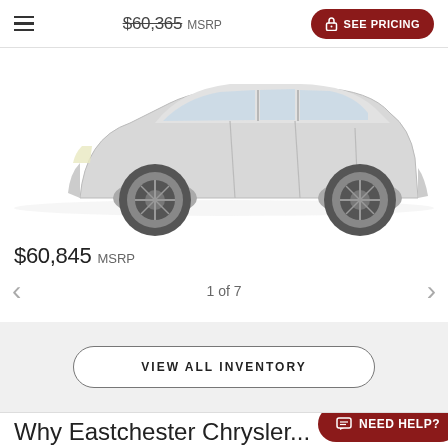$60,365 MSRP  SEE PRICING
[Figure (photo): Side view of a white SUV (Dodge Durango) on a white background]
$60,845 MSRP
1 of 7
VIEW ALL INVENTORY
Why Eastchester Chrysler...
NEED HELP?